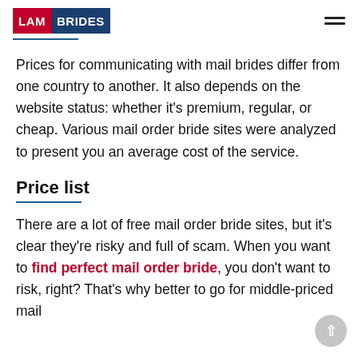LAM BRIDES
Prices for communicating with mail brides differ from one country to another. It also depends on the website status: whether it's premium, regular, or cheap. Various mail order bride sites were analyzed to present you an average cost of the service.
Price list
There are a lot of free mail order bride sites, but it's clear they're risky and full of scam. When you want to find perfect mail order bride, you don't want to risk, right? That's why better to go for middle-priced mail